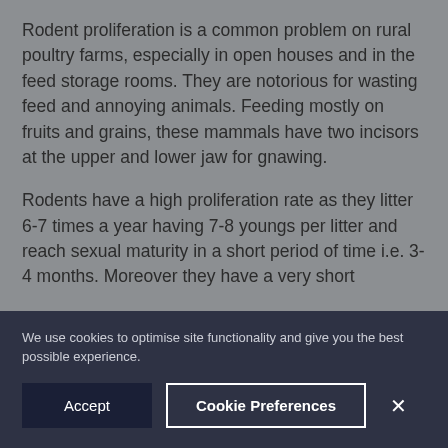Rodent proliferation is a common problem on rural poultry farms, especially in open houses and in the feed storage rooms. They are notorious for wasting feed and annoying animals. Feeding mostly on fruits and grains, these mammals have two incisors at the upper and lower jaw for gnawing.
Rodents have a high proliferation rate as they litter 6-7 times a year having 7-8 youngs per litter and reach sexual maturity in a short period of time i.e. 3-4 months. Moreover they have a very short...
We use cookies to optimise site functionality and give you the best possible experience.